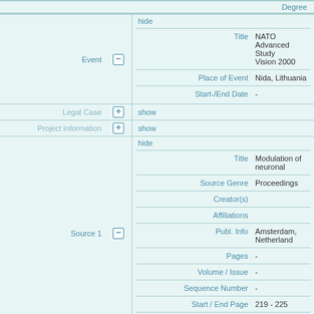| Degree |  |
| Event | hide | Title | NATO Advanced Study Vision 2000 |
|  |  | Place of Event | Nida, Lithuania |
|  |  | Start-/End Date | - |
| Legal Case | show |
| Project information | show |
| Source 1 | hide | Title | Modulation of neuronal |
|  |  | Source Genre | Proceedings |
|  |  | Creator(s) |  |
|  |  | Affiliations |  |
|  |  | Publ. Info | Amsterdam, Netherlands |
|  |  | Pages | - |
|  |  | Volume / Issue | - |
|  |  | Sequence Number | - |
|  |  | Start / End Page | 219 - 225 |
|  |  | Identifier | - |